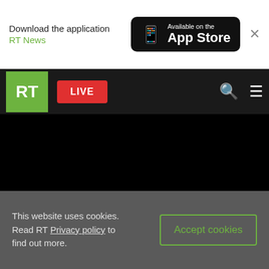Download the application RT News — Available on the App Store
[Figure (screenshot): RT website navigation bar with RT logo (green), LIVE button (red), search and menu icons on dark background]
[Figure (screenshot): Black video player area with READ MORE overlay text: READ MORE: Navalny to seek participation in 2018 presidential polls – report]
In June this year, Belykh lost his post as Kirov
This website uses cookies. Read RT Privacy policy to find out more. Accept cookies